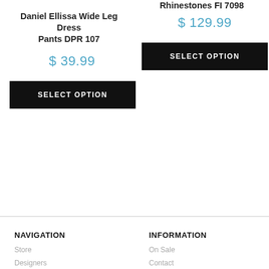Rhinestones FI 7098
Daniel Ellissa Wide Leg Dress Pants DPR 107
$ 39.99
SELECT OPTION
$ 129.99
SELECT OPTION
NAVIGATION
Store
Designers
INFORMATION
On Sale
Contact